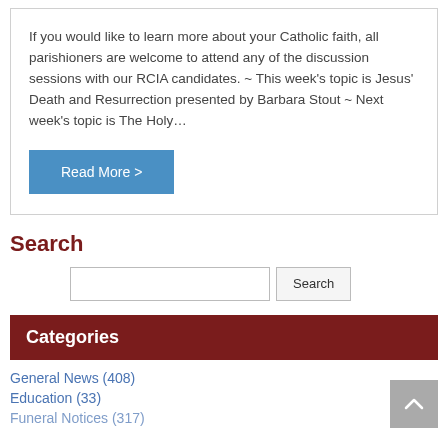If you would like to learn more about your Catholic faith, all parishioners are welcome to attend any of the discussion sessions with our RCIA candidates. ~ This week's topic is Jesus' Death and Resurrection presented by Barbara Stout ~ Next week's topic is The Holy…
Read More >
Search
Categories
General News (408)
Education (33)
Funeral Notices (317)